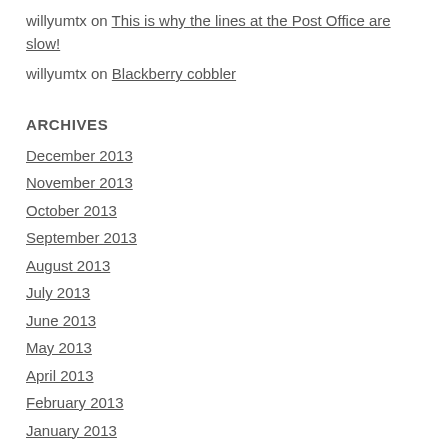willyumtx on This is why the lines at the Post Office are slow!
willyumtx on Blackberry cobbler
ARCHIVES
December 2013
November 2013
October 2013
September 2013
August 2013
July 2013
June 2013
May 2013
April 2013
February 2013
January 2013
November 2012
August 2012